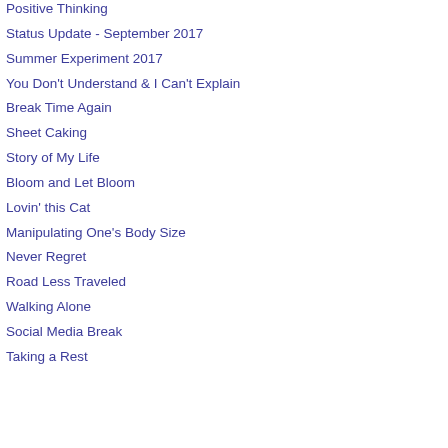Positive Thinking
Status Update - September 2017
Summer Experiment 2017
You Don't Understand & I Can't Explain
Break Time Again
Sheet Caking
Story of My Life
Bloom and Let Bloom
Lovin' this Cat
Manipulating One's Body Size
Never Regret
Road Less Traveled
Walking Alone
Social Media Break
Taking a Rest